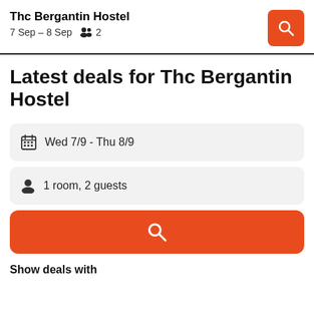Thc Bergantin Hostel
7 Sep – 8 Sep   2
Latest deals for Thc Bergantin Hostel
Wed 7/9  -  Thu 8/9
1 room, 2 guests
Show deals with